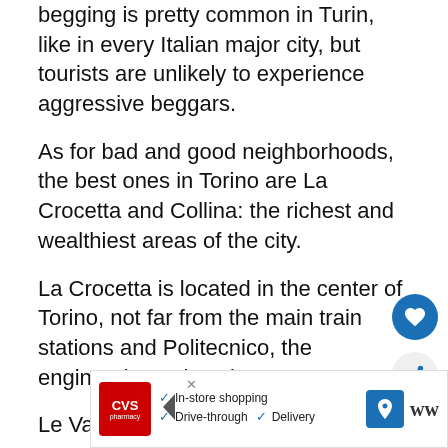begging is pretty common in Turin, like in every Italian major city, but tourists are unlikely to experience aggressive beggars.
As for bad and good neighborhoods, the best ones in Torino are La Crocetta and Collina: the richest and wealthiest areas of the city.
La Crocetta is located in the center of Torino, not far from the main train stations and Politecnico, the engineering university.
Le Vallette and Barriera di Milano are more problematic; Le Vallette is on the northwest si...
[Figure (screenshot): CVS Pharmacy advertisement banner with In-store shopping, Drive-through, and Delivery options, plus navigation and WW icons.]